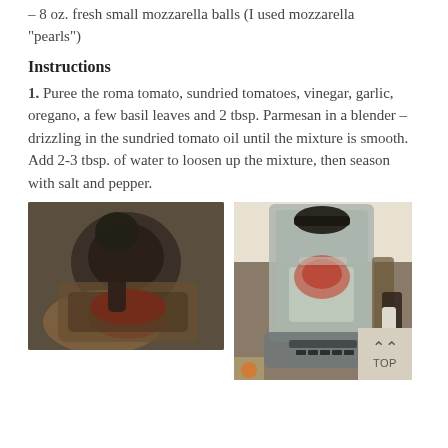– 8 oz. fresh small mozzarella balls (I used mozzarella "pearls")
Instructions
1. Puree the roma tomato, sundried tomatoes, vinegar, garlic, oregano, a few basil leaves and 2 tbsp. Parmesan in a blender – drizzling in the sundried tomato oil until the mixture is smooth. Add 2-3 tbsp. of water to loosen up the mixture, then season with salt and pepper.
[Figure (photo): Close-up photo of ingredients being added into a blender pitcher, showing red tomato pieces and a dark ladle on a kitchen counter.]
[Figure (photo): Photo of a silver blender filled with tomato and other ingredients on a granite kitchen counter, with various items in the background including a bottle.]